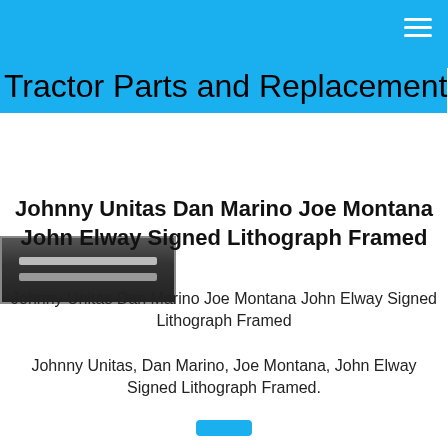Tractor Parts and Replacement
[Figure (photo): Product photo of framed signed lithograph, dark background with horizontal bars visible]
Johnny Unitas Dan Marino Joe Montana John Elway Signed Lithograph Framed
Johnny Unitas Dan Marino Joe Montana John Elway Signed Lithograph Framed
Johnny Unitas, Dan Marino, Joe Montana, John Elway Signed Lithograph Framed.